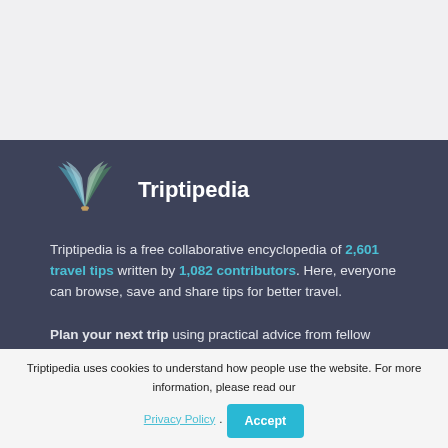[Figure (logo): Triptipedia open book logo with teal/blue pages]
Triptipedia
Triptipedia is a free collaborative encyclopedia of 2,601 travel tips written by 1,082 contributors. Here, everyone can browse, save and share tips for better travel.
Plan your next trip using practical advice from fellow travelers and locals in the know.
Put your profile in the spotlight by sharing useful tips, whether from your hometown or from your travels!
Triptipedia uses cookies to understand how people use the website. For more information, please read our Privacy Policy.